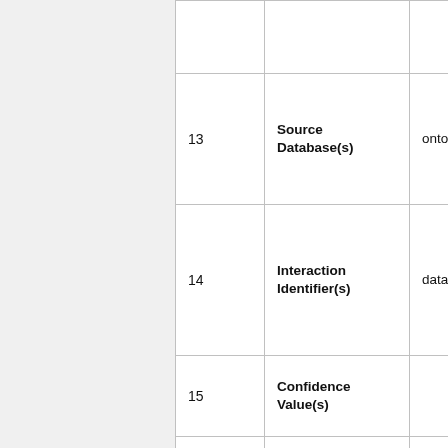| # | Column Name | Value |
| --- | --- | --- |
|  |  |  |
| 13 | Source Database(s) | ontology:identifier(name) |
| 14 | Interaction Identifier(s) | database:identifier |
| 15 | Confidence Value(s) |  |
| 16 | Expansion Method(s) |  |
| 17 | Biological Role(s) Interactor A |  |
|  | Biological |  |